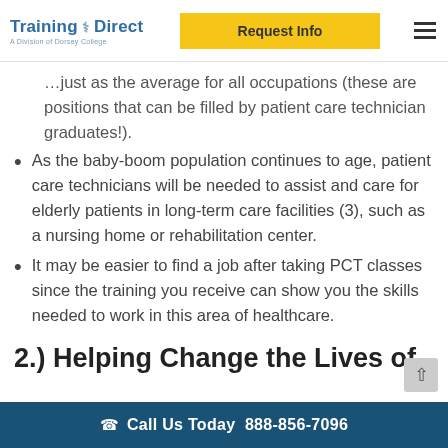Training Direct — A Division of Dorsey College | Request Info | Menu
…just as the average for all occupations (these are positions that can be filled by patient care technician graduates!).
As the baby-boom population continues to age, patient care technicians will be needed to assist and care for elderly patients in long-term care facilities (3), such as a nursing home or rehabilitation center.
It may be easier to find a job after taking PCT classes since the training you receive can show you the skills needed to work in this area of healthcare.
2.) Helping Change the Lives of
Call Us Today  888-856-7096